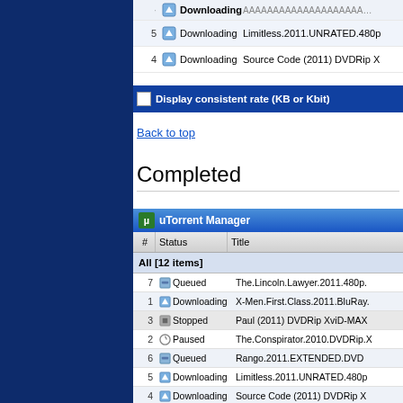[Figure (screenshot): uTorrent Manager screenshot showing top portion with rows: 5 Downloading Limitless.2011.UNRATED.480p, 4 Downloading Source Code (2011) DVDRip X, and a toolbar with 'Display consistent rate (KB or Kbit)' checkbox]
Back to top
Completed
[Figure (screenshot): uTorrent Manager screenshot showing completed downloads list with 12 items: 7 Queued The.Lincoln.Lawyer.2011.480p, 1 Downloading X-Men.First.Class.2011.BluRay, 3 Stopped Paul (2011) DVDRip XviD-MAX, 2 Paused The.Conspirator.2010.DVDRip.X, 6 Queued Rango.2011.EXTENDED.DVD, 5 Downloading Limitless.2011.UNRATED.480p, 4 Downloading Source Code (2011) DVDRip X, Seeding Trust.2010.DVDRip.XviD-EVO, Finished Jane Eyre 2011 PPVRip IFLIX, Finished Sons of Anarchy S04E01]